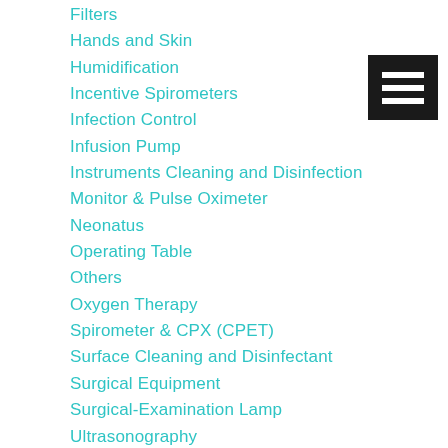Filters
Hands and Skin
Humidification
Incentive Spirometers
Infection Control
Infusion Pump
Instruments Cleaning and Disinfection
Monitor & Pulse Oximeter
Neonatus
Operating Table
Others
Oxygen Therapy
Spirometer & CPX (CPET)
Surface Cleaning and Disinfectant
Surgical Equipment
Surgical-Examination Lamp
Ultrasonography